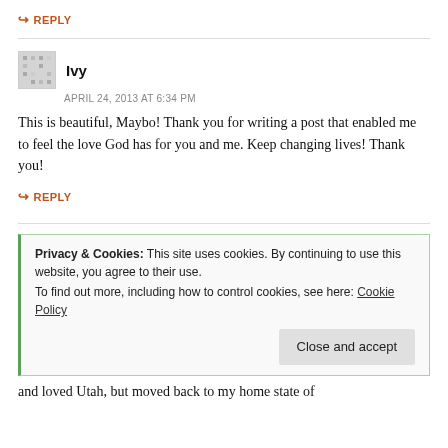↳ REPLY
Ivy
APRIL 24, 2013 AT 6:34 PM
This is beautiful, Maybo! Thank you for writing a post that enabled me to feel the love God has for you and me. Keep changing lives! Thank you!
↳ REPLY
Privacy & Cookies: This site uses cookies. By continuing to use this website, you agree to their use.
To find out more, including how to control cookies, see here: Cookie Policy
Close and accept
and loved Utah, but moved back to my home state of